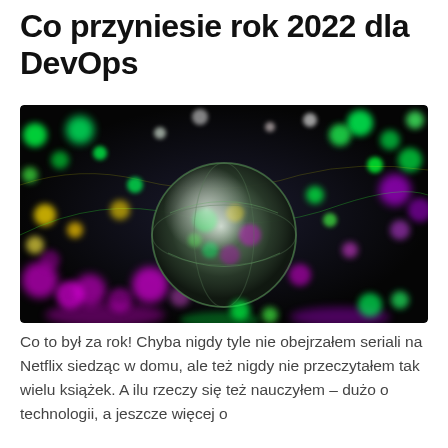Co przyniesie rok 2022 dla DevOps
[Figure (photo): A glass crystal ball surrounded by colorful bokeh lights (green, purple, yellow, pink) on a dark background, with bokeh reflections on a surface below.]
Co to był za rok! Chyba nigdy tyle nie obejrzałem seriali na Netflix siedząc w domu, ale też nigdy nie przeczytałem tak wielu książek. A ilu rzeczy się też nauczyłem – dużo o technologii, a jeszcze więcej o